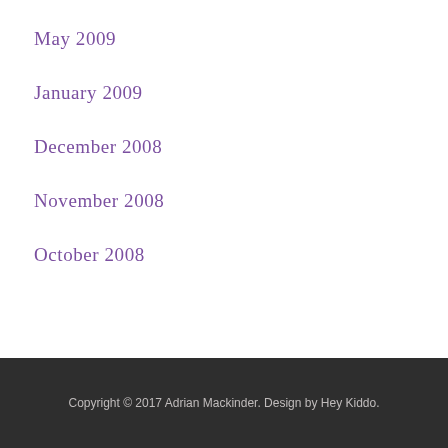May 2009
January 2009
December 2008
November 2008
October 2008
Copyright © 2017 Adrian Mackinder. Design by Hey Kiddo.